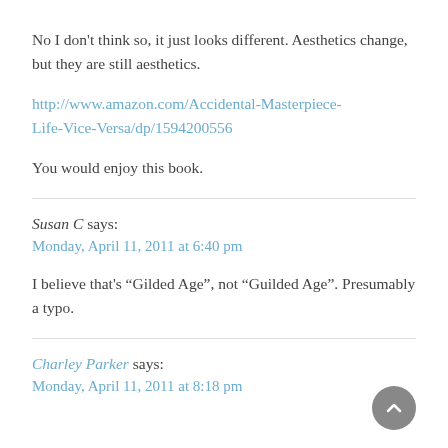No I don't think so, it just looks different. Aesthetics change, but they are still aesthetics.
http://www.amazon.com/Accidental-Masterpiece-Life-Vice-Versa/dp/1594200556
You would enjoy this book.
Susan C says:
Monday, April 11, 2011 at 6:40 pm
I believe that's “Gilded Age”, not “Guilded Age”. Presumably a typo.
Charley Parker says:
Monday, April 11, 2011 at 8:18 pm